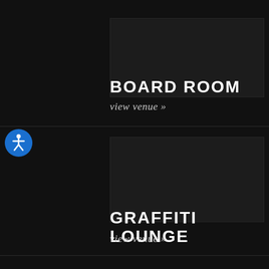BOARD ROOM
view venue »
[Figure (other): Accessibility icon button — blue circle with white person figure]
GRAFFITI LOUNGE
view venue »